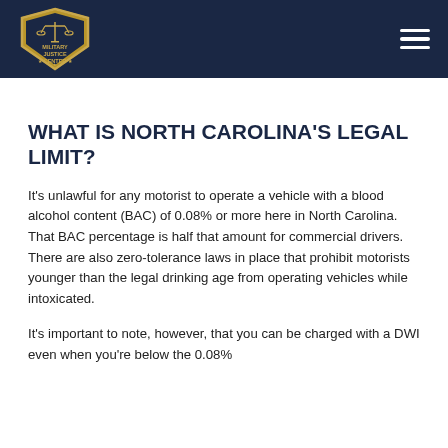[Figure (logo): Military Justice Center logo — gold shield with scales of justice, stars, and text 'MILITARY JUSTICE CENTER' on dark navy background header]
WHAT IS NORTH CAROLINA'S LEGAL LIMIT?
It’s unlawful for any motorist to operate a vehicle with a blood alcohol content (BAC) of 0.08% or more here in North Carolina. That BAC percentage is half that amount for commercial drivers. There are also zero-tolerance laws in place that prohibit motorists younger than the legal drinking age from operating vehicles while intoxicated.
It’s important to note, however, that you can be charged with a DWI even when you’re below the 0.08%